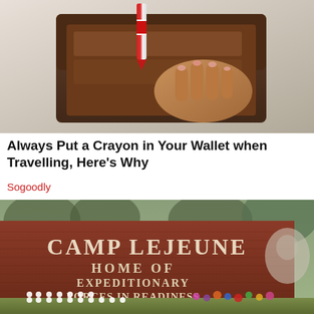[Figure (photo): Close-up of a hand placing a red and white striped crayon into a brown leather wallet]
Always Put a Crayon in Your Wallet when Travelling, Here's Why
Sogoodly
[Figure (photo): Camp Lejeune entrance brick sign reading 'CAMP LEJEUNE HOME OF EXPEDITIONARY FORCES IN READINESS' with floral tributes placed in front, trees in background]